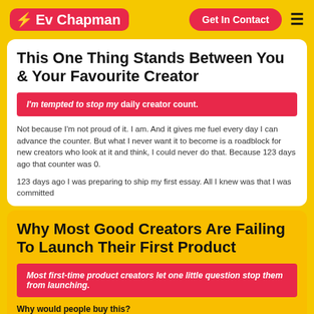Ev Chapman | Get In Contact
This One Thing Stands Between You & Your Favourite Creator
I'm tempted to stop my daily creator count.
Not because I'm not proud of it. I am. And it gives me fuel every day I can advance the counter. But what I never want it to become is a roadblock for new creators who look at it and think, I could never do that. Because 123 days ago that counter was 0.
123 days ago I was preparing to ship my first essay. All I knew was that I was committed
Why Most Good Creators Are Failing To Launch Their First Product
Most first-time product creators let one little question stop them from launching.
Why would people buy this?
So many creators I speak to have a level of guilt that plagues them before launch. A niggling feeling that this seemed too easy to build or too obvious. Why would anyone pay money for this? Why isn't everyone creating this? Why would someone want to buy